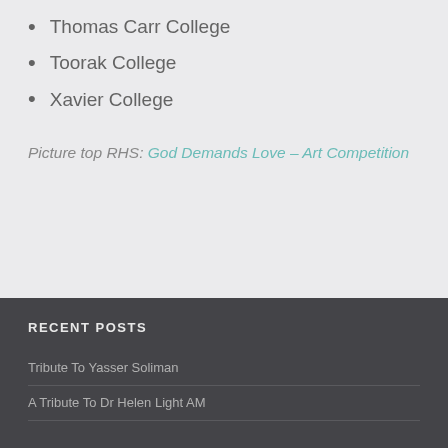Thomas Carr College
Toorak College
Xavier College
Picture top RHS: God Demands Love – Art Competition
RECENT POSTS
Tribute To Yasser Soliman
A Tribute To Dr Helen Light AM